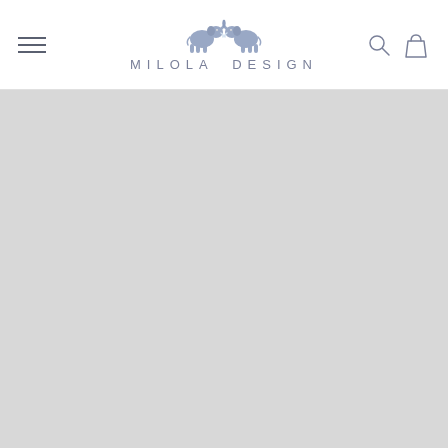Milola Design — navigation header with hamburger menu, logo, search and cart icons
[Figure (illustration): Large light grey placeholder/content area below the navigation header]